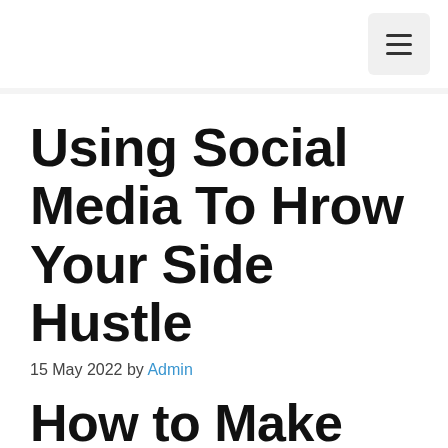☰
Using Social Media To Hrow Your Side Hustle
15 May 2022 by Admin
How to Make Money Online Fast